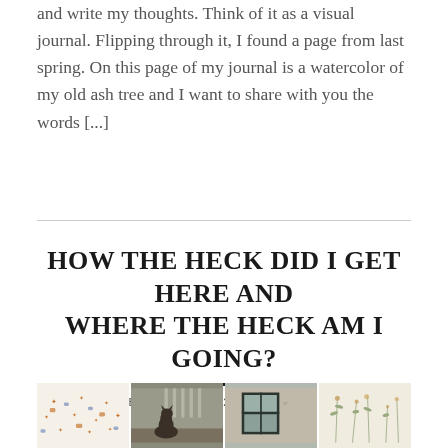and write my thoughts. Think of it as a visual journal. Flipping through it, I found a page from last spring. On this page of my journal is a watercolor of my old ash tree and I want to share with you the words [...]
HOW THE HECK DID I GET HERE AND WHERE THE HECK AM I GOING?
FEBRUARY 18, 2021   3 COMMENTS
[Figure (photo): A triptych of three photos: left shows a cream wallpaper with orange star and turtle motifs, center shows a dark cat sitting on the floor of an interior room with columns visible, right shows a room interior with a dark window frame and botanical/floral wallpaper.]